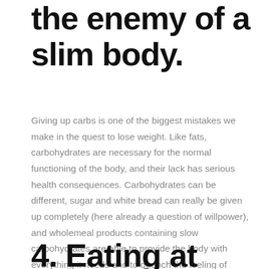the enemy of a slim body.
Giving up carbs is one of the biggest mistakes we make in the quest to lose weight. Like fats, carbohydrates are necessary for the normal functioning of the body, and their lack has serious health consequences. Carbohydrates can be different, sugar and white bread can really be given up completely (here already a question of willpower), and wholemeal products containing slow carbohydrates are able to provide the body with everything it needs and to quench the feeling of hunger for a long time.
4. Eating at night